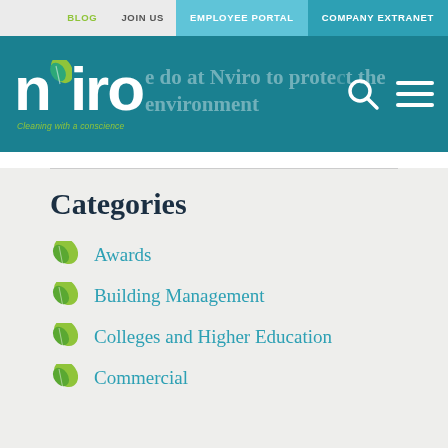BLOG  JOIN US  EMPLOYEE PORTAL  COMPANY EXTRANET
[Figure (logo): Nviro logo with green leaf and tagline 'Cleaning with a conscience']
…we do at Nviro to protect the environment
Categories
Awards
Building Management
Colleges and Higher Education
Commercial